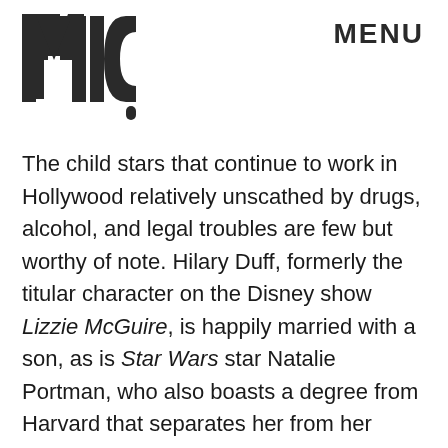MIC  MENU
The child stars that continue to work in Hollywood relatively unscathed by drugs, alcohol, and legal troubles are few but worthy of note. Hilary Duff, formerly the titular character on the Disney show Lizzie McGuire, is happily married with a son, as is Star Wars star Natalie Portman, who also boasts a degree from Harvard that separates her from her wayward peers. Former Mickey Mouse Club members Justin Timberlake, Britney Spears, Christina Aguilera, and Ryan Gosling all survived their kiddie-sized spotlights, albeit not without some bumps along the way. In fact